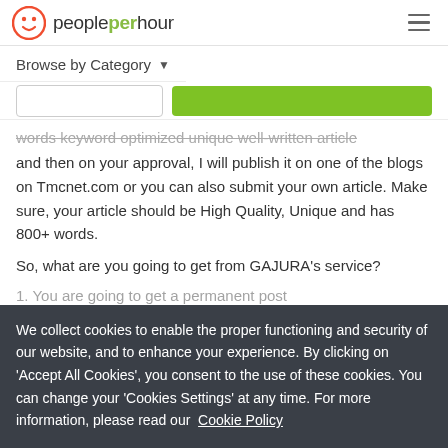peopleperhour
Browse by Category
words keyword optimized unique well-written article and then on your approval, I will publish it on one of the blogs on Tmcnet.com or you can also submit your own article. Make sure, your article should be High Quality, Unique and has 800+ words.
So, what are you going to get from GAJURA's service?
1.  You are going to get a permanent post
2.  You can also get traffic from search engine
We collect cookies to enable the proper functioning and security of our website, and to enhance your experience. By clicking on 'Accept All Cookies', you consent to the use of these cookies. You can change your 'Cookies Settings' at any time. For more information, please read our Cookie Policy